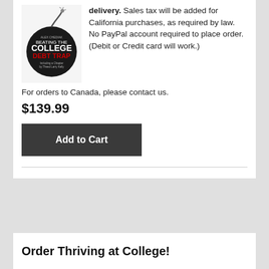[Figure (illustration): Book cover of 'Beating the College Debt Trap' - a dark circular bomb shape with white and red text]
delivery. Sales tax will be added for California purchases, as required by law. No PayPal account required to place order. (Debit or Credit card will work.)
For orders to Canada, please contact us.
$139.99
Add to Cart
Order Thriving at College!